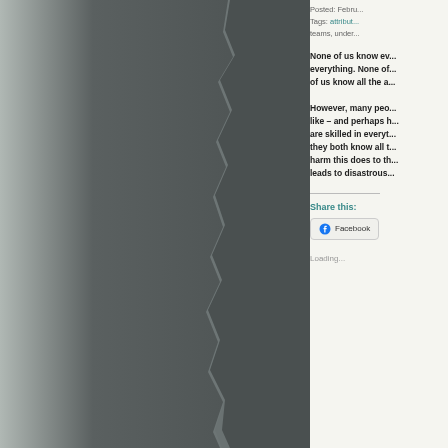[Figure (photo): Dark gray torn paper or background image on the left side of the page]
Posted: Febru...
Tags: attribut...
teams, under...
None of us know ev... everything. None of... of us know all the a...
However, many peo... like – and perhaps h... are skilled in everyt... they both know all t... harm this does to th... leads to disastrous...
Share this:
Facebook
Loading...